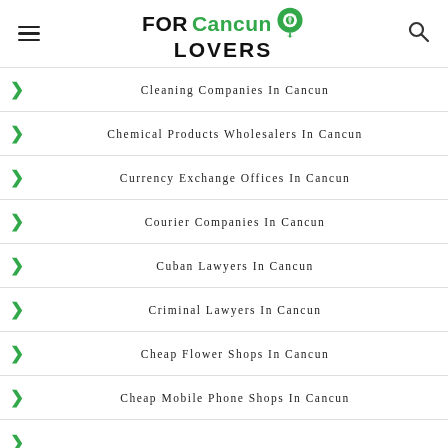FOR Cancun LOVERS
Cleaning Companies In Cancun
Chemical Products Wholesalers In Cancun
Currency Exchange Offices In Cancun
Courier Companies In Cancun
Cuban Lawyers In Cancun
Criminal Lawyers In Cancun
Cheap Flower Shops In Cancun
Cheap Mobile Phone Shops In Cancun
(partial, cut off)